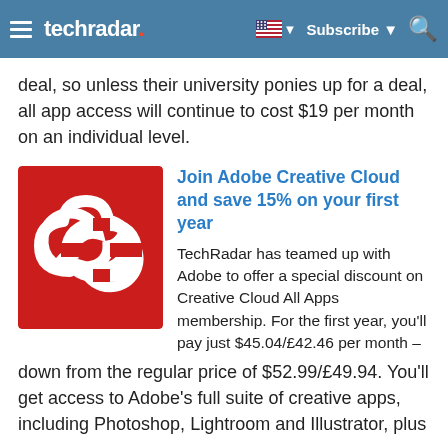techradar | Subscribe
deal, so unless their university ponies up for a deal, all app access will continue to cost $19 per month on an individual level.
[Figure (logo): Adobe Creative Cloud red logo with two interlocking cloud links on a red background]
Join Adobe Creative Cloud and save 15% on your first year
TechRadar has teamed up with Adobe to offer a special discount on Creative Cloud All Apps membership. For the first year, you'll pay just $45.04/£42.46 per month – down from the regular price of $52.99/£49.94. You'll get access to Adobe's full suite of creative apps, including Photoshop, Lightroom and Illustrator, plus